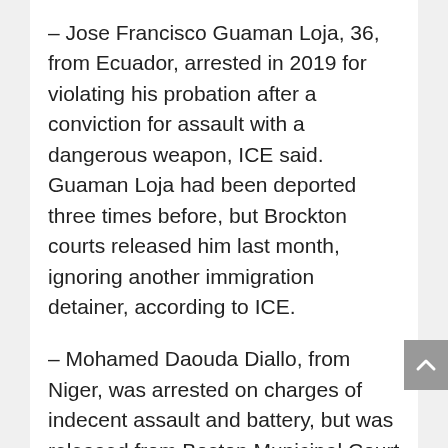– Jose Francisco Guaman Loja, 36, from Ecuador, arrested in 2019 for violating his probation after a conviction for assault with a dangerous weapon, ICE said. Guaman Loja had been deported three times before, but Brockton courts released him last month, ignoring another immigration detainer, according to ICE.
– Mohamed Daouda Diallo, from Niger, was arrested on charges of indecent assault and battery, but was released from Boston Municipal Court despite an